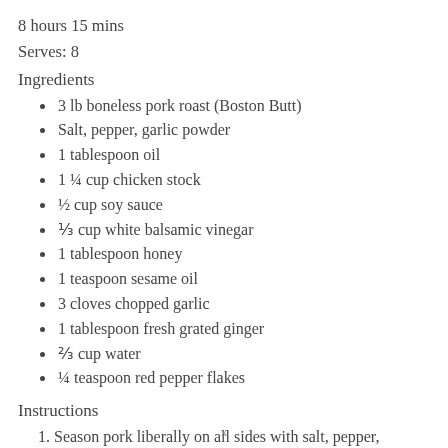8 hours 15 mins
Serves: 8
Ingredients
3 lb boneless pork roast (Boston Butt)
Salt, pepper, garlic powder
1 tablespoon oil
1 ¼ cup chicken stock
½ cup soy sauce
⅓ cup white balsamic vinegar
1 tablespoon honey
1 teaspoon sesame oil
3 cloves chopped garlic
1 tablespoon fresh grated ginger
⅔ cup water
¼ teaspoon red pepper flakes
Instructions
Season pork liberally on all sides with salt, pepper, and garlic powder.
x